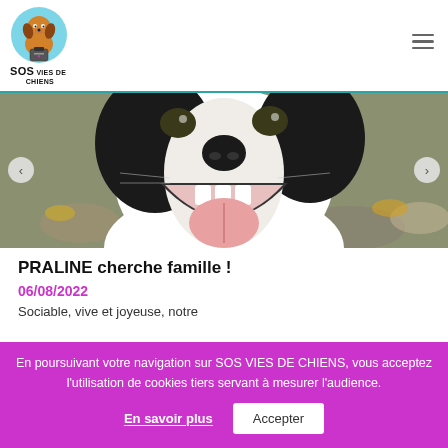[Figure (logo): SOS Vies de Chiens logo — cartoon dog with suitcase on light blue circle background with the text SOS VIES DE CHIENS below]
[Figure (photo): Close-up photo of a black and white dog with mouth wide open, tongue visible, looking happy/playful, taken outdoors with blurred background of rocks and leaves]
PRALINE cherche famille !
06/08/2022
Sociable, vive et joyeuse, notre
En poursuivant votre navigation sur SOS VIES DE CHIENS, vous acceptez l'utilisation de cookies tiers servant à mesurer l'audience.
En savoir plus
Accepter